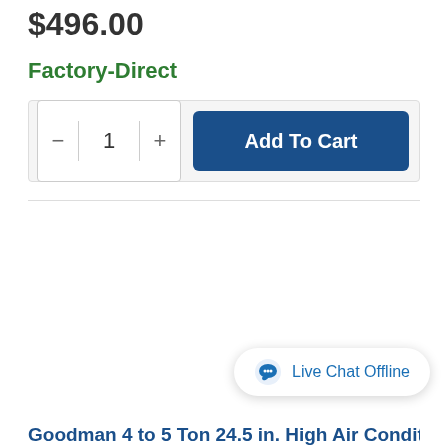$496.00
Factory-Direct
Add To Cart
Live Chat Offline
Goodman 4 to 5 Ton 24.5 in. High Air Conditioner